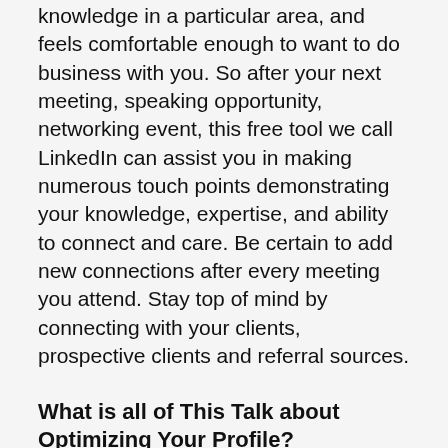knowledge in a particular area, and feels comfortable enough to want to do business with you. So after your next meeting, speaking opportunity, networking event, this free tool we call LinkedIn can assist you in making numerous touch points demonstrating your knowledge, expertise, and ability to connect and care. Be certain to add new connections after every meeting you attend. Stay top of mind by connecting with your clients, prospective clients and referral sources.
What is all of This Talk about Optimizing Your Profile?
LinkedIn is the most social media for busi...